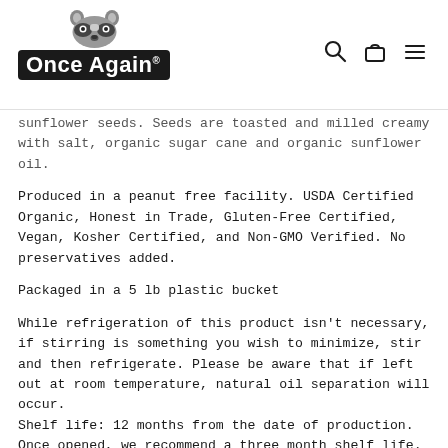Once Again (logo with raccoon)
sunflower seeds. Seeds are toasted and milled creamy with salt, organic sugar cane and organic sunflower oil.
Produced in a peanut free facility. USDA Certified Organic, Honest in Trade, Gluten-Free Certified, Vegan, Kosher Certified, and Non-GMO Verified. No preservatives added.
Packaged in a 5 lb plastic bucket
While refrigeration of this product isn't necessary, if stirring is something you wish to minimize, stir and then refrigerate. Please be aware that if left out at room temperature, natural oil separation will occur.
Shelf life: 12 months from the date of production. Once opened, we recommend a three month shelf life. We cannot guarantee product performance past the sell-by date as we do not add preservatives to our products.